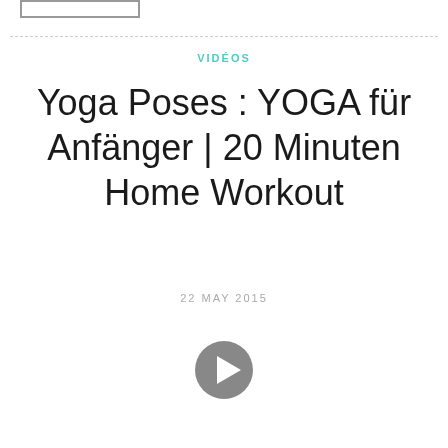VIDÉOS
Yoga Poses : YOGA für Anfänger | 20 Minuten Home Workout
22 MAY 2015
[Figure (other): Play button icon (circular gray play button)]